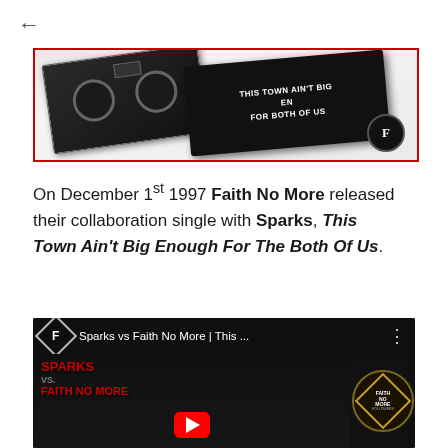[Figure (photo): Photo of cassette tapes on white background showing 'This Town Ain't Big Enough For Both Of Us' label, with Faith No More badge/logo]
On December 1st 1997 Faith No More released their collaboration single with Sparks, This Town Ain't Big Enough For The Both Of Us.
[Figure (screenshot): YouTube video thumbnail for 'Sparks vs Faith No More | This ...' showing band members in black and white with red text 'SPARKS VS. FAITH NO MORE' and a Faith No More Followers badge]